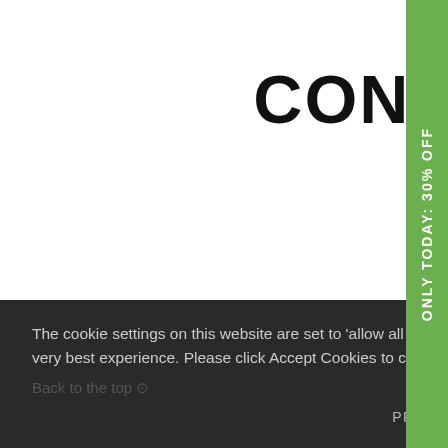CONNECT. SHARE. LOVE.
[Figure (illustration): Three social media icons in grey rounded squares: Instagram camera icon, Facebook 'f' icon, Twitter bird icon]
Get inspired – Join our DUAL community on social media for daily tips, insights and motivation!
The cookie settings on this website are set to 'allow all cookies' to give you the very best experience. Please click Accept Cookies to continue to use the site.
Back to the top
PRIVACY POLICY   ACCEPT ✓
ONLY TODAY: 30% OFF